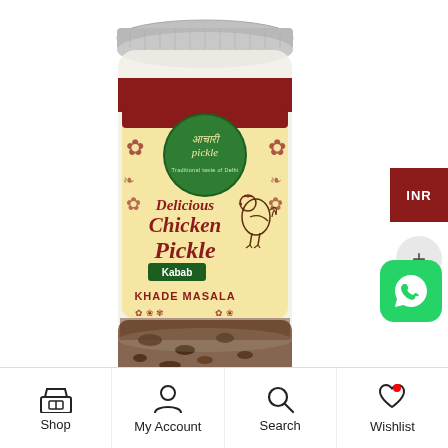[Figure (photo): A glass jar of Aachari Pickle brand Delicious Chicken Pickle Kabab Khade Masala product. The jar has a silver metal lid, a cream/yellow label with dark red decorative elements, a green circular logo with Hindi text 'आचारी pickle' and 'Traditional taste of Delhi', illustrations of a rooster/chicken, and text reading 'Delicious Chicken Pickle Kabab KHADE MASALA'. The jar contains brown pickle visible through the glass.]
INR
+
[Figure (logo): WhatsApp logo - white phone handset icon on green rounded square background]
Shop
My Account
Search
Wishlist